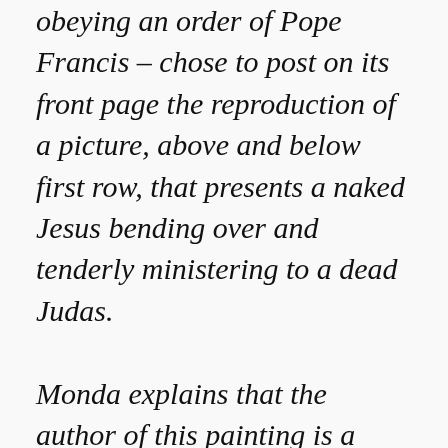obeying an order of Pope Francis – chose to post on its front page the reproduction of a picture, above and below first row, that presents a naked Jesus bending over and tenderly ministering to a dead Judas.

Monda explains that the author of this painting is a